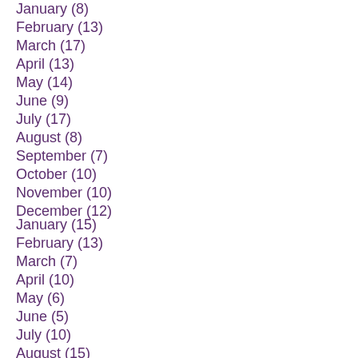January (8)
February (13)
March (17)
April (13)
May (14)
June (9)
July (17)
August (8)
September (7)
October (10)
November (10)
December (12)
January (15)
February (13)
March (7)
April (10)
May (6)
June (5)
July (10)
August (15)
September (13)
October (19)